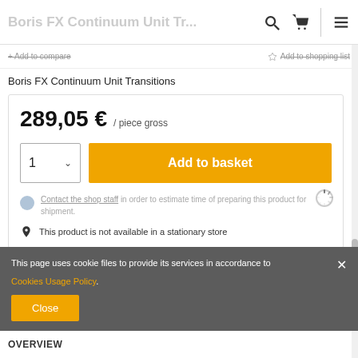Boris FX Continuum Unit Transitions
+ Add to compare   ☆ Add to shopping list
Boris FX Continuum Unit Transitions
289,05 € / piece gross
1  ∨  Add to basket
Contact the shop staff in order to estimate time of preparing this product for shipment.
This product is not available in a stationary store
This page uses cookie files to provide its services in accordance to Cookies Usage Policy.
Close
OVERVIEW